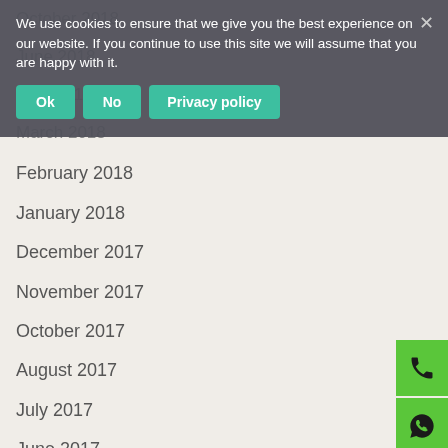October 2018
June 2018
April 2018
March 2018
February 2018
January 2018
December 2017
November 2017
October 2017
August 2017
July 2017
June 2017
May 2017
March 2017
February 2017
We use cookies to ensure that we give you the best experience on our website. If you continue to use this site we will assume that you are happy with it.
Ok | No | Privacy policy